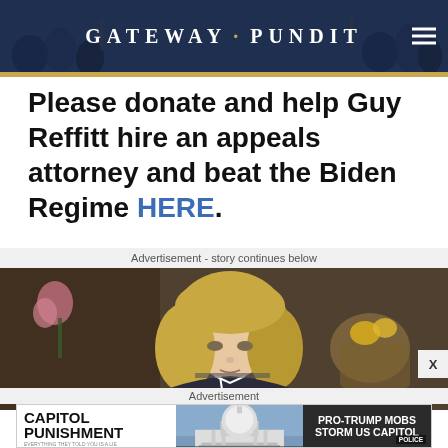GATEWAY PUNDIT
Please donate and help Guy Reffitt hire an appeals attorney and beat the Biden Regime HERE.
Advertisement - story continues below
[Figure (photo): Video advertisement showing a blonde woman looking down, seated at a desk, with a wicker background and flowers. A close (X) button appears at the right.]
Advertisement
[Figure (infographic): Capitol Punishment advertisement: 'JOIN OVER 85,000 OTHER PEOPLE WHO LEARNED THE TRUTH ABOUT THE JANUARY 6TH CAPITOL. WATCH NOW.' with US Capitol dome image and 'PRO-TRUMP MOBS STORM US CAPITOL' news banner. Bottom caption: JANUARY 6 WAS YEARS IN THE MAKING AND THE THREAT TO THE SURVIVAL OF AMERICA AS WE KNOW IT HAS NEVER BEEN GREATER.]